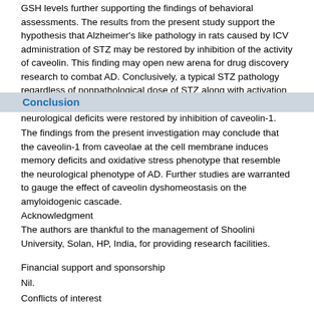GSH levels further supporting the findings of behavioral assessments. The results from the present study support the hypothesis that Alzheimer's like pathology in rats caused by ICV administration of STZ may be restored by inhibition of the activity of caveolin. This finding may open new arena for drug discovery research to combat AD. Conclusively, a typical STZ pathology regardless of nonpathological dose of STZ along with activation of caveolin-1 using minoxidil was observed; however, neurological deficits were restored by inhibition of caveolin-1.
Conclusion
The findings from the present investigation may conclude that the caveolin-1 from caveolae at the cell membrane induces memory deficits and oxidative stress phenotype that resemble the neurological phenotype of AD. Further studies are warranted to gauge the effect of caveolin dyshomeostasis on the amyloidogenic cascade.
Acknowledgment
The authors are thankful to the management of Shoolini University, Solan, HP, India, for providing research facilities.
Financial support and sponsorship
Nil.
Conflicts of interest